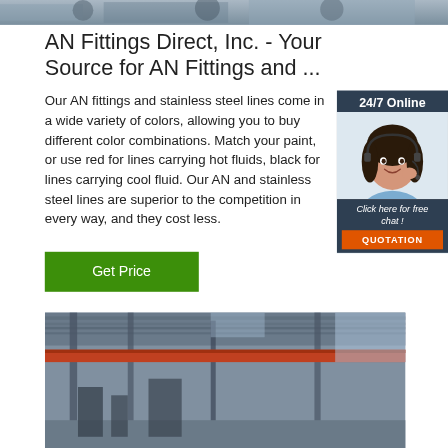[Figure (photo): Top banner photo of industrial/manufacturing setting]
AN Fittings Direct, Inc. - Your Source for AN Fittings and ...
Our AN fittings and stainless steel lines come in a wide variety of colors, allowing you to buy different color combinations. Match your paint, or use red for lines carrying hot fluid, black for lines carrying cool fluid. Our AN and stainless steel lines are superior to the competition in every way, and they cost less.
[Figure (photo): Chat widget with 24/7 Online support agent photo, Click here for free chat text, and QUOTATION button]
[Figure (photo): Bottom photo of industrial factory interior with overhead crane]
Get Price